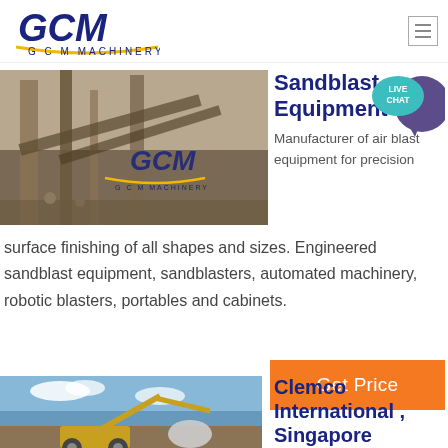[Figure (logo): GCM Machinery logo with blue text and yellow underline]
[Figure (photo): Industrial sandblast equipment and machinery at a construction/mining site with GCM Machinery branding]
Sandblast Equipment
Manufacturer of air blast equipment for precision surface finishing of all shapes and sizes. Engineered sandblast equipment, sandblasters, automated machinery, robotic blasters, portables and cabinets.
Get Price
[Figure (photo): Clemco International machinery - excavator/crane equipment against blue sky]
Clemco International , Singapore
Clemco International ,